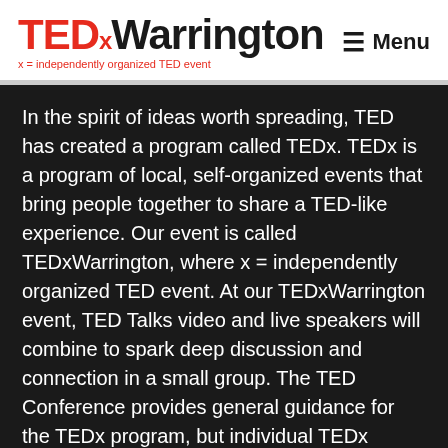[Figure (logo): TEDx Warrington logo with tagline 'x = independently organized TED event']
In the spirit of ideas worth spreading, TED has created a program called TEDx. TEDx is a program of local, self-organized events that bring people together to share a TED-like experience. Our event is called TEDxWarrington, where x = independently organized TED event. At our TEDxWarrington event, TED Talks video and live speakers will combine to spark deep discussion and connection in a small group. The TED Conference provides general guidance for the TEDx program, but individual TEDx events, including ours, are self-organized.
Learn more about TEDx.